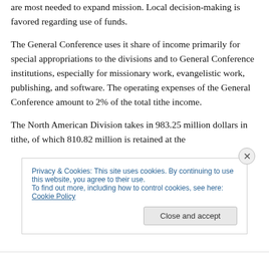are most needed to expand mission. Local decision-making is favored regarding use of funds.
The General Conference uses it share of income primarily for special appropriations to the divisions and to General Conference institutions, especially for missionary work, evangelistic work, publishing, and software. The operating expenses of the General Conference amount to 2% of the total tithe income.
The North American Division takes in 983.25 million dollars in tithe, of which 810.82 million is retained at the
Privacy & Cookies: This site uses cookies. By continuing to use this website, you agree to their use.
To find out more, including how to control cookies, see here: Cookie Policy